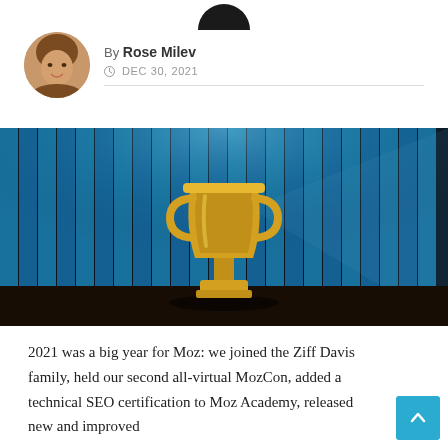[Figure (logo): Partial Moz logo (bottom portion visible at top of page)]
By Rose Milev
DEC 30, 2021
[Figure (photo): Hero image: golden trophy on a stage with blue curtain backdrop and spotlight effect]
2021 was a big year for Moz: we joined the Ziff Davis family, held our second all-virtual MozCon, added a technical SEO certification to Moz Academy, released new and improved